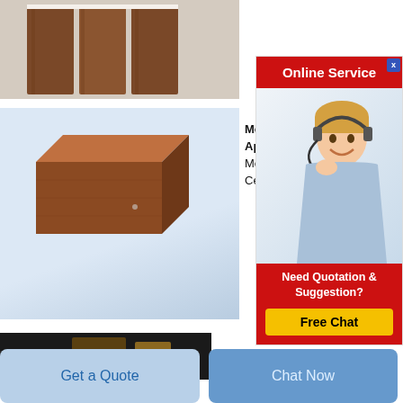[Figure (photo): Three brown rectangular refractory bricks standing upright on white background]
[Figure (photo): Single brown rectangular refractory brick on light blue-grey background]
Mol App Molte Cera
[Figure (infographic): Online Service advertisement with customer service agent wearing headset, Need Quotation & Suggestion? Free Chat button]
[Figure (photo): Dark interior industrial scene, partially visible]
Get a Quote
Chat Now